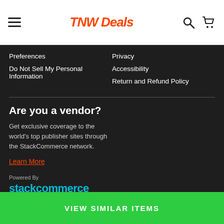TNW Deals
Preferences
Do Not Sell My Personal Information
Privacy
Accessibility
Return and Refund Policy
Are you a vendor?
Get exclusive coverage to the world's top publisher sites through the StackCommerce network.
Learn More
Powered By
stackcommerce
VIEW SIMILAR ITEMS